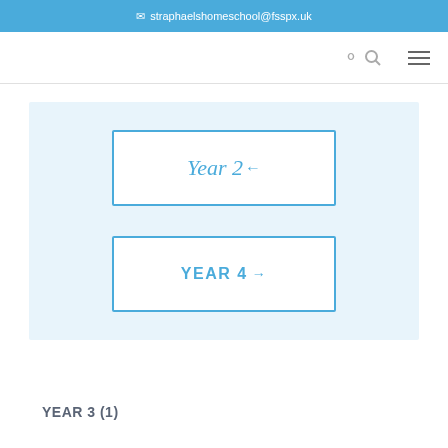✉ straphaelshomeschool@fsspx.uk
[Figure (screenshot): Navigation bar with search icon and hamburger menu icon]
[Figure (infographic): Light blue box containing two navigation buttons: 'Year 2' with left arrow and 'YEAR 4' with right arrow]
YEAR 3 (1)